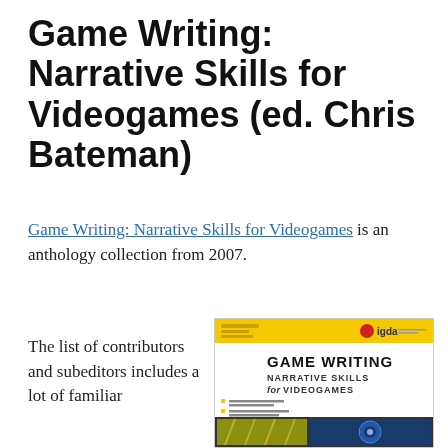Game Writing: Narrative Skills for Videogames (ed. Chris Bateman)
Game Writing: Narrative Skills for Videogames is an anthology collection from 2007.
The list of contributors and subeditors includes a lot of familiar
[Figure (photo): Book cover of Game Writing: Narrative Skills for Videogames. Yellow banner at top with IGDA logo. Title text reads GAME WRITING NARRATIVE SKILLS for VIDEOGAMES. Images of games at bottom.]